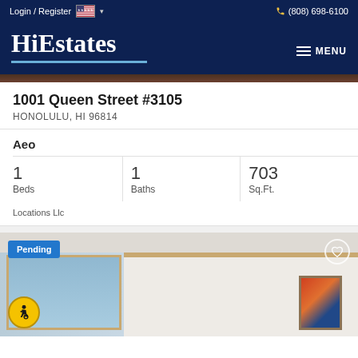Login / Register  (808) 698-6100
HiEstates
1001 Queen Street #3105
HONOLULU, HI 96814
Aeo
1 Beds  1 Baths  703 Sq.Ft.
Locations Llc
[Figure (photo): Interior room photo with window and artwork, showing Pending badge and accessibility icon]